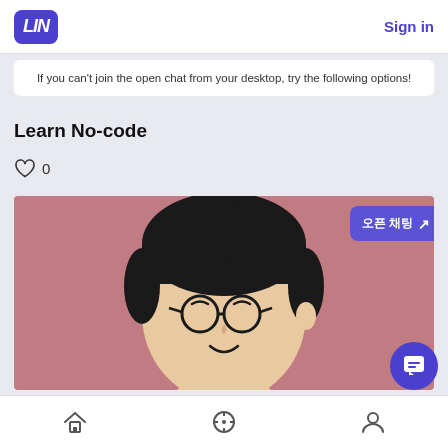LIN | Sign in
If you can't join the open chat from your desktop, try the following options!
Learn No-code
♡ 0
[Figure (illustration): Cartoon illustration of a smiling boy with black hair and round glasses on a dusty rose/mauve background. A purple button with Korean text and an arrow icon appears in the upper right of the image.]
Home | Explore | Profile